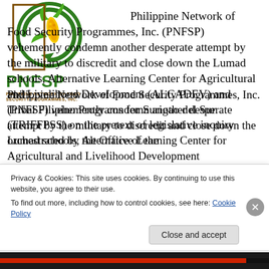[Figure (logo): PNFSP logo with green circular emblem featuring corn/grains, green circular arrow, text PNFSP in large green bold letters, subtitle PHILIPPINE NETWORK OF FOOD SECURITY PROGRAMMES, INC.]
Philippine Network of Food Security Programmes, Inc. (PNFSP) vehemently condemn another desperate attempt by the military to discredit and close down the Lumad schools, Alternative Learning Center for Agricultural and Livelihood Development (ALCADEV) and Tribal Filipino Programs for Surigao del Sur (TRIFFPSS) on the pretext of legislative inquiry orchestrated by the Office of the
Privacy & Cookies: This site uses cookies. By continuing to use this website, you agree to their use.
To find out more, including how to control cookies, see here: Cookie Policy
Close and accept